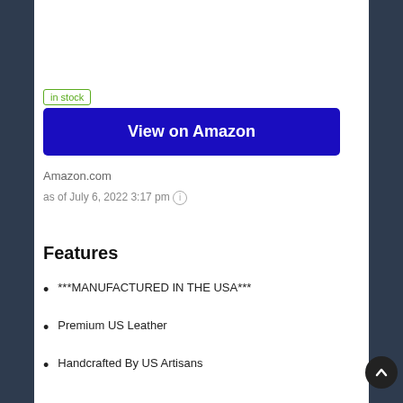[Figure (photo): Partial product image showing leather items (wallets/cases) at top of page, cropped]
in stock
View on Amazon
Amazon.com
as of July 6, 2022 3:17 pm ⓘ
Features
***MANUFACTURED IN THE USA***
Premium US Leather
Handcrafted By US Artisans